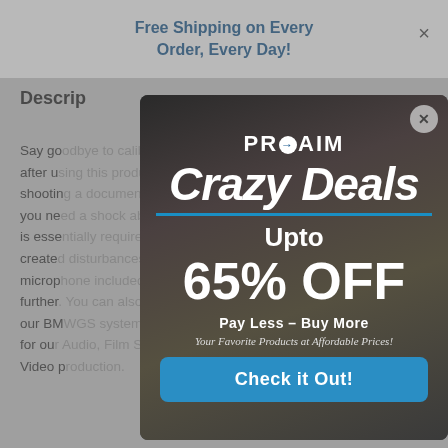Free Shipping on Every Order, Every Day!
Description
Say go...rations after u...you are shootin...event, you ne...o which is esse...cover create...lds the microp...system further...ents to our BM...it ideal for ou...m and Video p...
[Figure (infographic): PROAIM promotional modal popup with dark background showing camera equipment. Text: 'Crazy Deals Upto 65% OFF, Pay Less – Buy More, Your Favorite Products at Affordable Prices! Check it Out!']